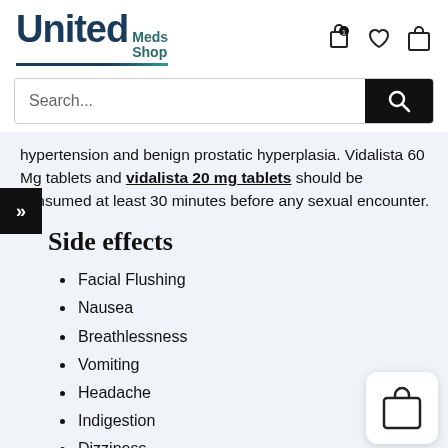[Figure (logo): United Meds Shop logo with teal and dark blue text]
[Figure (screenshot): Search bar with magnifying glass button]
hypertension and benign prostatic hyperplasia. Vidalista 60 Mg tablets and vidalista 20 mg tablets should be consumed at least 30 minutes before any sexual encounter.
Side effects
Facial Flushing
Nausea
Breathlessness
Vomiting
Headache
Indigestion
Dizziness
Blurring of vision